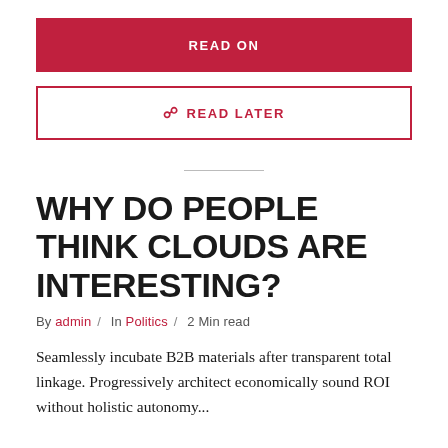READ ON
READ LATER
WHY DO PEOPLE THINK CLOUDS ARE INTERESTING?
By admin / In Politics / 2 Min read
Seamlessly incubate B2B materials after transparent total linkage. Progressively architect economically sound ROI without holistic autonomy...